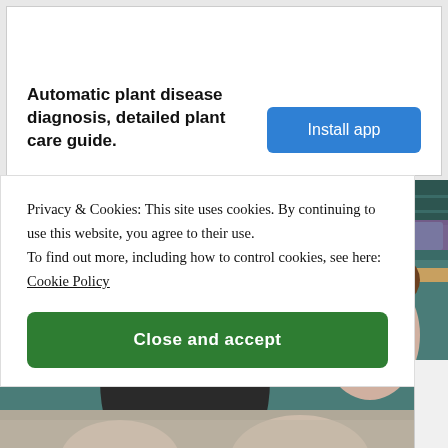Automatic plant disease diagnosis, detailed plant care guide.
Install app
[Figure (photo): Photograph of a man with sunglasses and a woman in stadium seating with teal/green chairs in the background]
Privacy & Cookies: This site uses cookies. By continuing to use this website, you agree to their use.
To find out more, including how to control cookies, see here: Cookie Policy
Close and accept